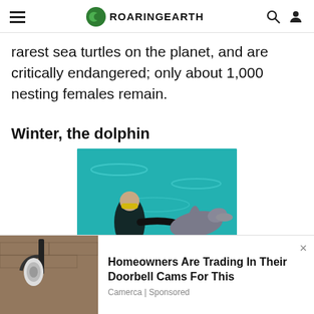Roaring Earth
rarest sea turtles on the planet, and are critically endangered; only about 1,000 nesting females remain.
Winter, the dolphin
[Figure (photo): A person in a wetsuit with yellow goggles interacting with a dolphin in turquoise water]
[Figure (photo): Ad image showing a security camera on a stone wall]
Homeowners Are Trading In Their Doorbell Cams For This
Camerca | Sponsored